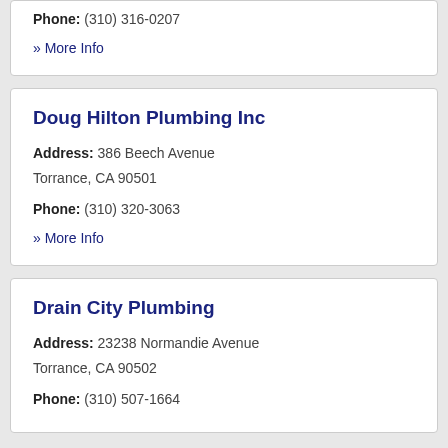Phone: (310) 316-0207
» More Info
Doug Hilton Plumbing Inc
Address: 386 Beech Avenue Torrance, CA 90501
Phone: (310) 320-3063
» More Info
Drain City Plumbing
Address: 23238 Normandie Avenue Torrance, CA 90502
Phone: (310) 507-1664